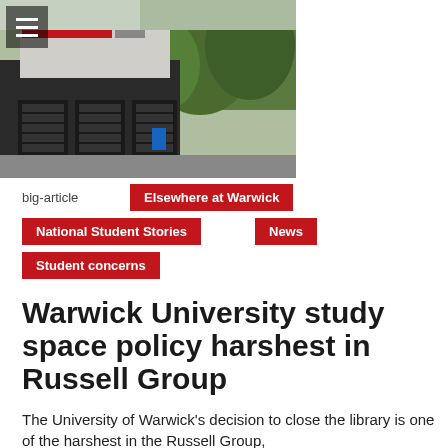[Figure (photo): Exterior photo of a university building (Warwick University library) with dark facade, garage-style doors, and trees visible in background]
big-article
Elsewhere at Warwick
National Student Stories
News
Student concerns
Warwick University study space policy harshest in Russell Group
The University of Warwick's decision to close the library is one of the harshest in the Russell Group,